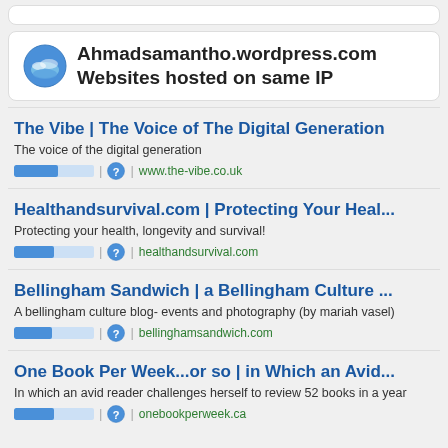Ahmadsamantho.wordpress.com Websites hosted on same IP
The Vibe | The Voice of The Digital Generation
The voice of the digital generation
www.the-vibe.co.uk
Healthandsurvival.com | Protecting Your Heal...
Protecting your health, longevity and survival!
healthandsurvival.com
Bellingham Sandwich | a Bellingham Culture ...
A bellingham culture blog- events and photography (by mariah vasel)
bellinghamsandwich.com
One Book Per Week...or so | in Which an Avid...
In which an avid reader challenges herself to review 52 books in a year
onebookperweek.ca